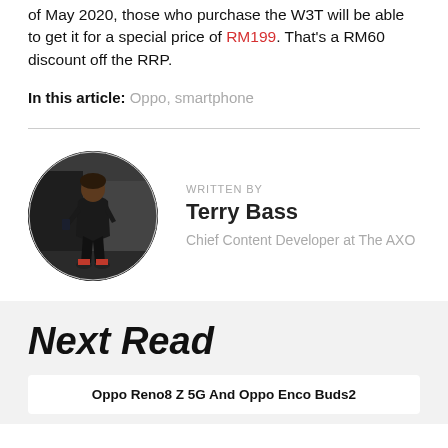of May 2020, those who purchase the W3T will be able to get it for a special price of RM199. That's a RM60 discount off the RRP.
In this article: Oppo, smartphone
[Figure (photo): Circular profile photo of author Terry Bass, showing a person in dark clothing outdoors]
WRITTEN BY
Terry Bass
Chief Content Developer at The AXO
Next Read
Oppo Reno8 Z 5G And Oppo Enco Buds2